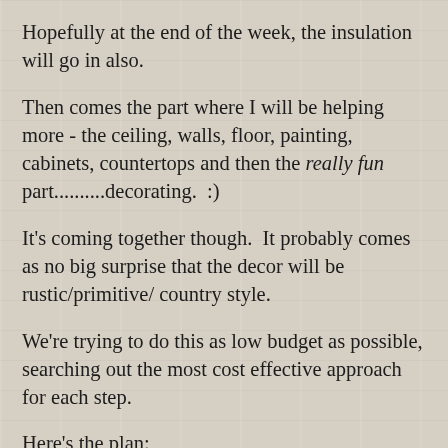Hopefully at the end of the week, the insulation will go in also.
Then comes the part where I will be helping more - the ceiling, walls, floor, painting, cabinets, countertops and then the really fun part..........decorating.  :)
It's coming together though.  It probably comes as no big surprise that the decor will be rustic/primitive/ country style.
We're trying to do this as low budget as possible, searching out the most cost effective approach for each step.
Here's the plan:
The ceilings will be corrugated tin.  For the interior walls, we will be using exterior knotty barnside masonite siding